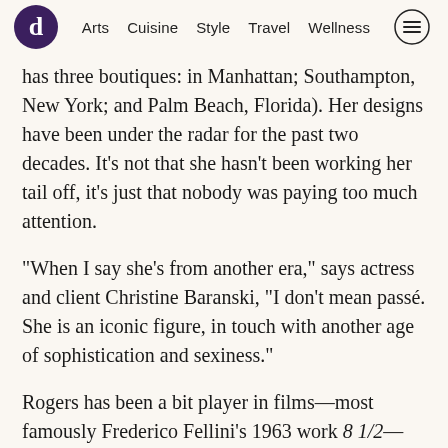[logo] Arts Cuisine Style Travel Wellness [menu]
has three boutiques: in Manhattan; Southampton, New York; and Palm Beach, Florida). Her designs have been under the radar for the past two decades. It’s not that she hasn’t been working her tail off, it’s just that nobody was paying too much attention.
“When I say she’s from another era,” says actress and client Christine Baranski, “I don’t mean passé. She is an iconic figure, in touch with another age of sophistication and sexiness.”
Rogers has been a bit player in films—most famously Frederico Fellini’s 1963 work 8 1/2—